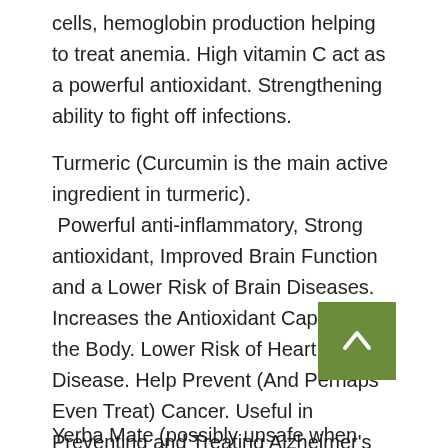cells, hemoglobin production helping to treat anemia. High vitamin C act as a powerful antioxidant. Strengthening ability to fight off infections.
Turmeric (Curcumin is the main active ingredient in turmeric). Powerful anti-inflammatory, Strong antioxidant, Improved Brain Function and a Lower Risk of Brain Diseases. Increases the Antioxidant Capacity of the Body. Lower Risk of Heart Disease. Help Prevent (And Perhaps Even Treat) Cancer. Useful in Preventing and Treating Alzheimer's Disease. Effective with rheumatoid arthritis. Effective as an antidepressant. Help Delay Aging and Fight Age-Related Chronic Diseases.
Yerba Mate (possibly unsafe when pregnant or nursing)